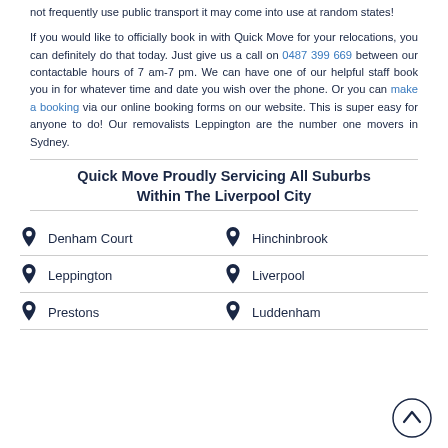not frequently use public transport it may come into use at random states!
If you would like to officially book in with Quick Move for your relocations, you can definitely do that today. Just give us a call on 0487 399 669 between our contactable hours of 7 am-7 pm. We can have one of our helpful staff book you in for whatever time and date you wish over the phone. Or you can make a booking via our online booking forms on our website. This is super easy for anyone to do! Our removalists Leppington are the number one movers in Sydney.
Quick Move Proudly Servicing All Suburbs Within The Liverpool City
Denham Court
Hinchinbrook
Leppington
Liverpool
Prestons
Luddenham